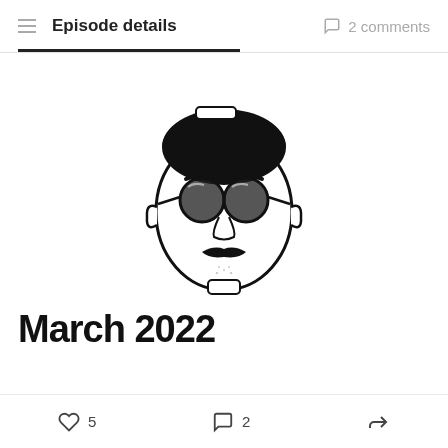≡ Episode details  ○ 2 comments
[Figure (illustration): Black and white illustration of a man's face with round glasses, a mustache, and short hair with a cap/headband]
March 2022
♡ 5   ○ 2   ↪